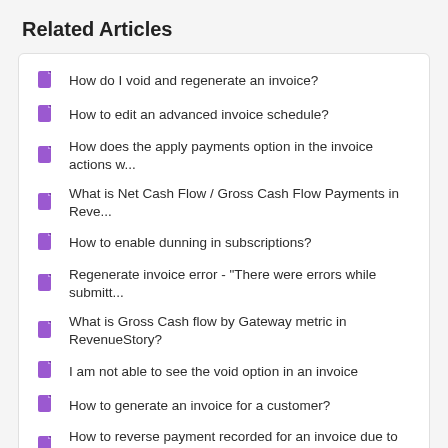Related Articles
How do I void and regenerate an invoice?
How to edit an advanced invoice schedule?
How does the apply payments option in the invoice actions w...
What is Net Cash Flow / Gross Cash Flow Payments in Reve...
How to enable dunning in subscriptions?
Regenerate invoice error - "There were errors while submitt...
What is Gross Cash flow by Gateway metric in RevenueStory?
I am not able to see the void option in an invoice
How to generate an invoice for a customer?
How to reverse payment recorded for an invoice due to che...